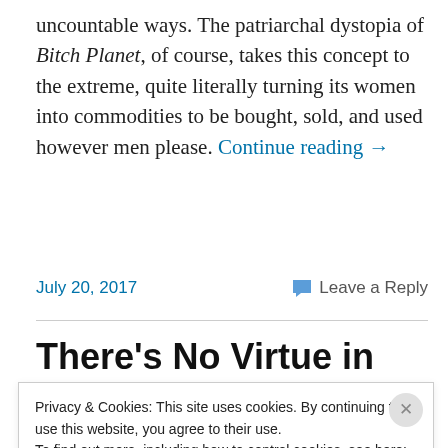uncountable ways. The patriarchal dystopia of Bitch Planet, of course, takes this concept to the extreme, quite literally turning its women into commodities to be bought, sold, and used however men please. Continue reading →
July 20, 2017    💬 Leave a Reply
There's No Virtue in Compliance in Bitch Planet
Privacy & Cookies: This site uses cookies. By continuing to use this website, you agree to their use.
To find out more, including how to control cookies, see here: Cookie Policy
Close and accept